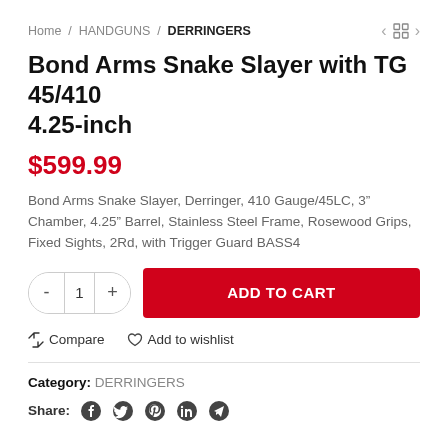Home / HANDGUNS / DERRINGERS
Bond Arms Snake Slayer with TG 45/410 4.25-inch
$599.99
Bond Arms Snake Slayer, Derringer, 410 Gauge/45LC, 3" Chamber, 4.25" Barrel, Stainless Steel Frame, Rosewood Grips, Fixed Sights, 2Rd, with Trigger Guard BASS4
ADD TO CART
Compare   Add to wishlist
Category: DERRINGERS
Share: f Twitter Pinterest in Telegram